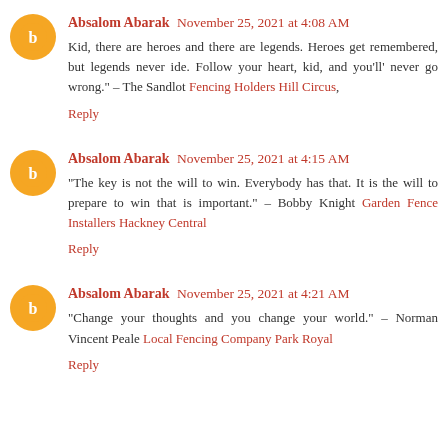Absalom Abarak November 25, 2021 at 4:08 AM
Kid, there are heroes and there are legends. Heroes get remembered, but legends never ide. Follow your heart, kid, and you'll' never go wrong." – The Sandlot Fencing Holders Hill Circus,
Reply
Absalom Abarak November 25, 2021 at 4:15 AM
"The key is not the will to win. Everybody has that. It is the will to prepare to win that is important." – Bobby Knight Garden Fence Installers Hackney Central
Reply
Absalom Abarak November 25, 2021 at 4:21 AM
"Change your thoughts and you change your world." – Norman Vincent Peale Local Fencing Company Park Royal
Reply